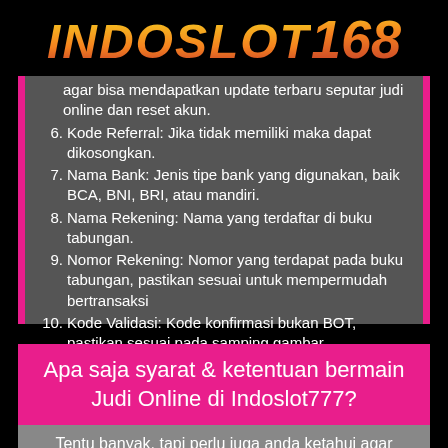INDOSLOT168
agar bisa mendapatkan update terbaru seputar judi online dan reset akun.
6. Kode Referral: Jika tidak memiliki maka dapat dikosongkan.
7. Nama Bank: Jenis tipe bank yang digunakan, baik BCA, BNI, BRI, atau mandiri.
8. Nama Rekening: Nama yang terdaftar di buku tabungan.
9. Nomor Rekening: Nomor yang terdapat pada buku tabungan, pastikan sesuai untuk mempermudah bertransaksi
10. Kode Validasi: Kode konfirmasi bukan BOT, pastikan sesuai pada samping gambar.
Apa saja syarat & ketentuan bermain Judi Online di Indoslot777?
Tentu banyak, tapi perlu juga anda ketahui agar